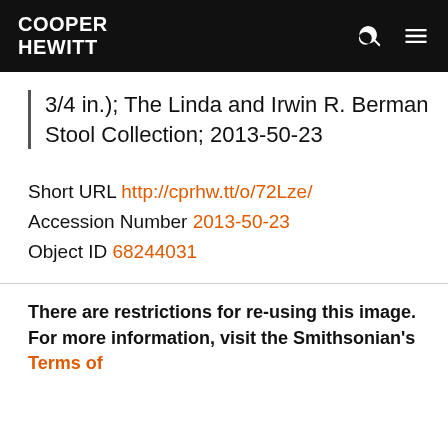COOPER HEWITT
3/4 in.); The Linda and Irwin R. Berman Stool Collection; 2013-50-23
Short URL http://cprhw.tt/o/72Lze/
Accession Number 2013-50-23
Object ID 68244031
There are restrictions for re-using this image. For more information, visit the Smithsonian's Terms of